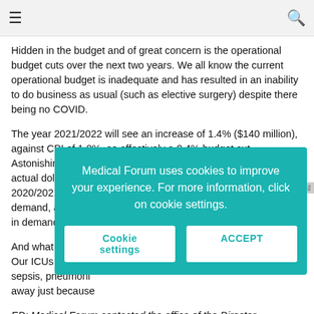≡  🔍
Hidden in the budget and of great concern is the operational budget cuts over the next two years. We all know the current operational budget is inadequate and has resulted in an inability to do business as usual (such as elective surgery) despite there being no COVID.
The year 2021/2022 will see an increase of 1.4% ($140 million), against CPI of 1.8%, so effectively a 0.4% budget cut. Astonishingly, 2022/2023 is budgeted to have a $210 million actual dollar budget cut. That will take us to less than the 2020/2021 budget that was patently inadequate to match demand, and we [will see an increase] in demand at 3-4[% per year].
And what happen[s when COVID ends?] Our ICUs are alrea[dy full of patients with] sepsis, pneumonia[, and trauma. They don't go] away just because [COVID is cured.]
Medical Forum uses cookies to improve your experience. For more information, click on cookie settings.
Cookie settings   ACCEPT
ED: Medical Forum contacted the office of the Director-